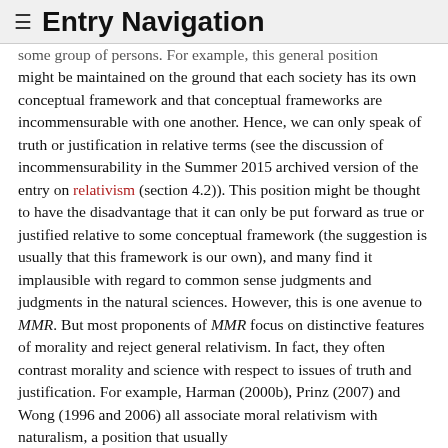≡ Entry Navigation
some group of persons. For example, this general position might be maintained on the ground that each society has its own conceptual framework and that conceptual frameworks are incommensurable with one another. Hence, we can only speak of truth or justification in relative terms (see the discussion of incommensurability in the Summer 2015 archived version of the entry on relativism (section 4.2)). This position might be thought to have the disadvantage that it can only be put forward as true or justified relative to some conceptual framework (the suggestion is usually that this framework is our own), and many find it implausible with regard to common sense judgments and judgments in the natural sciences. However, this is one avenue to MMR. But most proponents of MMR focus on distinctive features of morality and reject general relativism. In fact, they often contrast morality and science with respect to issues of truth and justification. For example, Harman (2000b), Prinz (2007) and Wong (1996 and 2006) all associate moral relativism with naturalism, a position that usually